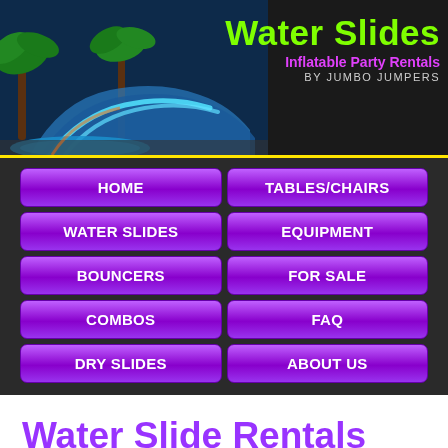[Figure (photo): Header banner showing a colorful inflatable water slide with palm trees on a dark background, with 'Water Slides – Inflatable Party Rentals by Jumbo Jumpers' text in green and pink on the right side.]
HOME
TABLES/CHAIRS
WATER SLIDES
EQUIPMENT
BOUNCERS
FOR SALE
COMBOS
FAQ
DRY SLIDES
ABOUT US
Water Slide Rentals Mandeville, LA
Are you planning a party in Mandeville? Reserve your water slide rental today! Our waterslide rentals are the perfect choice for outdoor, summer fun. Your party guests will be impressed by these